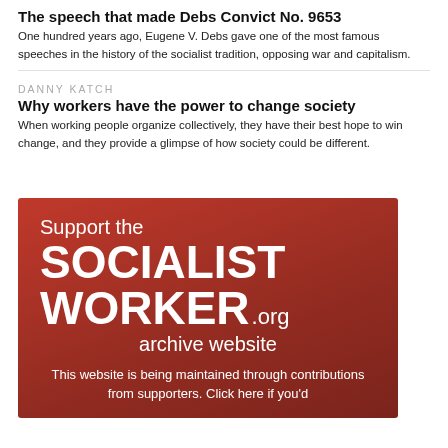The speech that made Debs Convict No. 9653
One hundred years ago, Eugene V. Debs gave one of the most famous speeches in the history of the socialist tradition, opposing war and capitalism.
DANNY KATCH
Why workers have the power to change society
When working people organize collectively, they have their best hope to win change, and they provide a glimpse of how society could be different.
[Figure (infographic): Red banner advertisement for Socialist Worker archive website. Text reads: 'Support the SOCIALIST WORKER.org archive website. This website is being maintained through contributions from supporters. Click here if you'd']